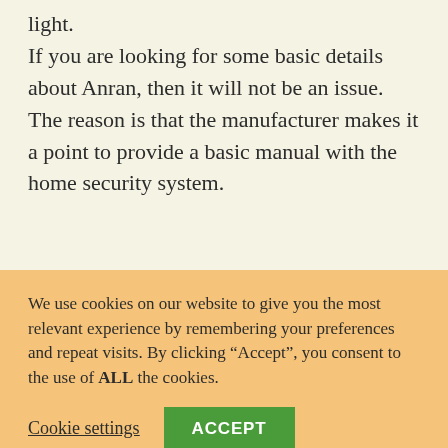light.

If you are looking for some basic details about Anran, then it will not be an issue. The reason is that the manufacturer makes it a point to provide a basic manual with the home security system.
We use cookies on our website to give you the most relevant experience by remembering your preferences and repeat visits. By clicking “Accept”, you consent to the use of ALL the cookies.
Cookie settings   ACCEPT